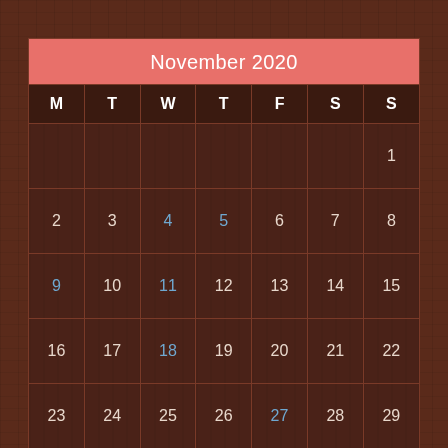November 2020
| M | T | W | T | F | S | S |
| --- | --- | --- | --- | --- | --- | --- |
|  |  |  |  |  |  | 1 |
| 2 | 3 | 4 | 5 | 6 | 7 | 8 |
| 9 | 10 | 11 | 12 | 13 | 14 | 15 |
| 16 | 17 | 18 | 19 | 20 | 21 | 22 |
| 23 | 24 | 25 | 26 | 27 | 28 | 29 |
| 30 |  |  |  |  |  |  |
« Oct  Dec »